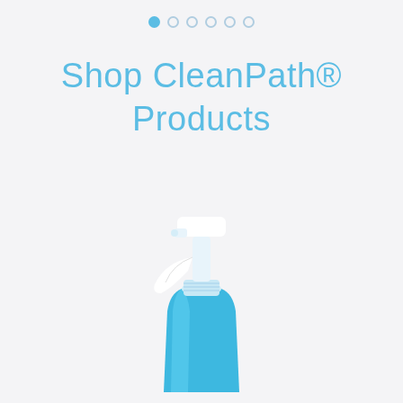[Figure (other): Pagination indicator with 6 dots, first dot filled blue, remaining 5 as empty circles]
Shop CleanPath® Products
[Figure (photo): A blue and white spray bottle (trigger sprayer) partially visible from the top, with white pump/head mechanism and a blue body, photographed on a light gray background]